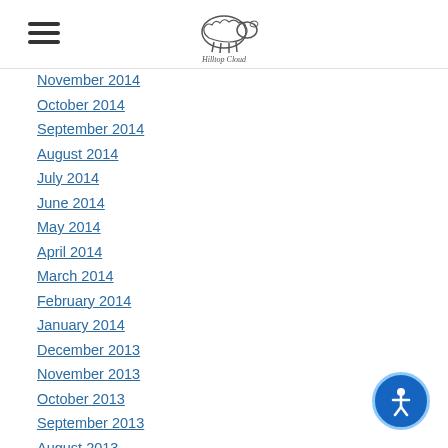Hilltop Cloud - navigation header with logo
November 2014
October 2014
September 2014
August 2014
July 2014
June 2014
May 2014
April 2014
March 2014
February 2014
January 2014
December 2013
November 2013
October 2013
September 2013
August 2013
July 2013
June 2013
[Figure (other): Accessibility icon button - circular blue button with person icon]